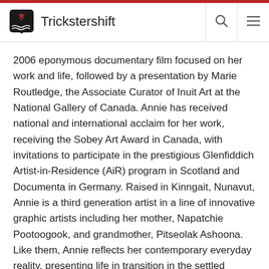Trickstershift
2006 eponymous documentary film focused on her work and life, followed by a presentation by Marie Routledge, the Associate Curator of Inuit Art at the National Gallery of Canada. Annie has received national and international acclaim for her work, receiving the Sobey Art Award in Canada, with invitations to participate in the prestigious Glenfiddich Artist-in-Residence (AiR) program in Scotland and Documenta in Germany. Raised in Kinngait, Nunavut, Annie is a third generation artist in a line of innovative graphic artists including her mother, Napatchie Pootoogook, and grandmother, Pitseolak Ashoona. Like them, Annie reflects her contemporary everyday reality, presenting life in transition in the settled community of Kinngait. Inspired by her mother's desire to chronicle important community events, myths, and legends before she passed away, Annie began to draw in 1997. About her artistic practice, Annie says: “I’m very